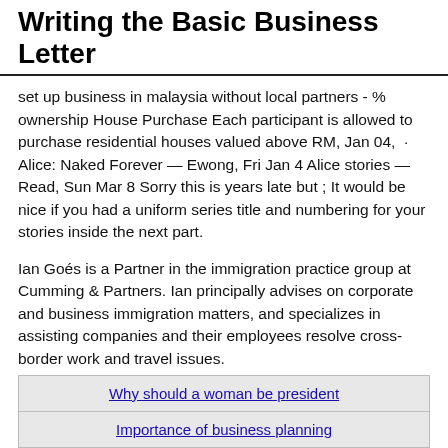Writing the Basic Business Letter
set up business in malaysia without local partners - % ownership House Purchase Each participant is allowed to purchase residential houses valued above RM, Jan 04,  · Alice: Naked Forever — Ewong, Fri Jan 4 Alice stories — Read, Sun Mar 8 Sorry this is years late but ; It would be nice if you had a uniform series title and numbering for your stories inside the next part.
Ian Goés is a Partner in the immigration practice group at Cumming & Partners. Ian principally advises on corporate and business immigration matters, and specializes in assisting companies and their employees resolve cross-border work and travel issues.
| Why should a woman be president |
| Importance of business planning |